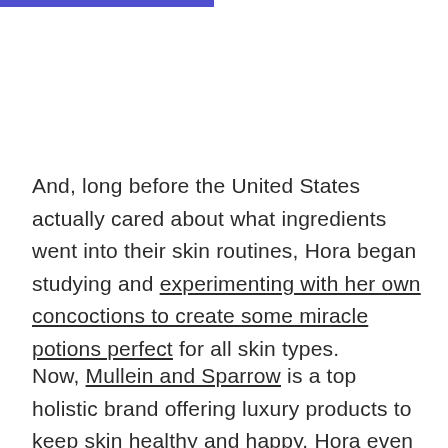And, long before the United States actually cared about what ingredients went into their skin routines, Hora began studying and experimenting with her own concoctions to create some miracle potions perfect for all skin types.
Now, Mullein and Sparrow is a top holistic brand offering luxury products to keep skin healthy and happy. Hora even has skincare lines available to